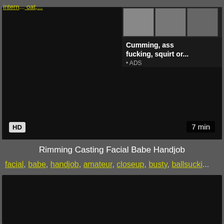intern... oat,...
[Figure (screenshot): Video player with adult content thumbnail, HD badge, 7 min duration, ad overlay showing thumbnails and text 'Cumming, ass fucking, squirt or... ADS']
Rimming Casting Facial Babe Handjob
facial, babe, handjob, amateur, closeup, busty, ballsucki...
[Figure (screenshot): Second video player block, dark/black]